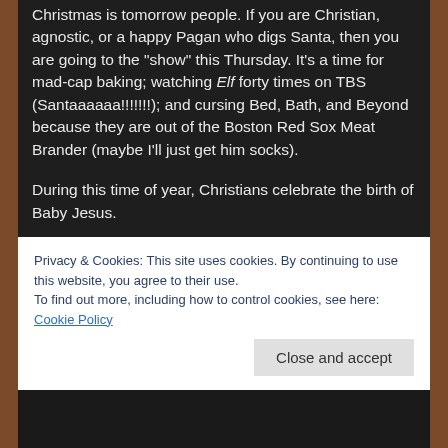Christmas is tomorrow people. If you are Christian, agnostic, or a happy Pagan who digs Santa, then you are going to the "show" this Thursday. It's a time for mad-cap baking; watching Elf forty times on TBS (Santaaaaaa!!!!!!!); and cursing Bed, Bath, and Beyond because they are out of the Boston Red Sox Meat Brander (maybe I'll just get him socks).
During this time of year, Christians celebrate the birth of Baby Jesus.
Also happening this time of year, the United States celebrates the birth of the flu.
Privacy & Cookies: This site uses cookies. By continuing to use this website, you agree to their use.
To find out more, including how to control cookies, see here: Cookie Policy